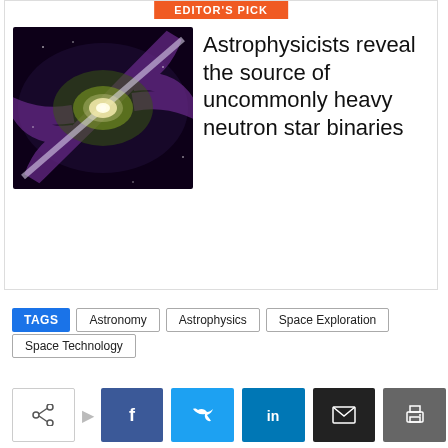[Figure (illustration): Artist illustration of a galaxy with a bright central core and jets/beams of light emanating from it, set against a dark background with swirling purple and green hues.]
Astrophysicists reveal the source of uncommonly heavy neutron star binaries
EDITOR'S PICK
Astronomy
Astrophysics
Space Exploration
Space Technology